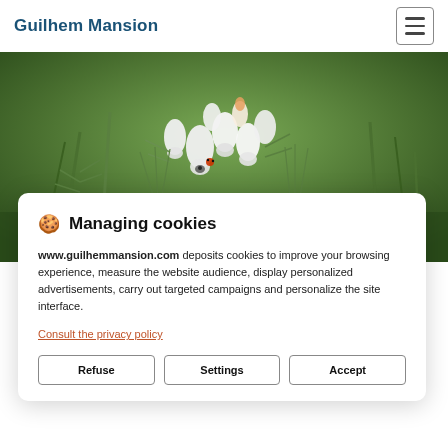Guilhem Mansion
[Figure (photo): Close-up photograph of white bell-shaped flowers (heather/erica) with green needle-like foliage in the background, with a ladybug visible on one of the flowers]
🍪 Managing cookies
www.guilhemmansion.com deposits cookies to improve your browsing experience, measure the website audience, display personalized advertisements, carry out targeted campaigns and personalize the site interface.
Consult the privacy policy
Refuse    Settings    Accept